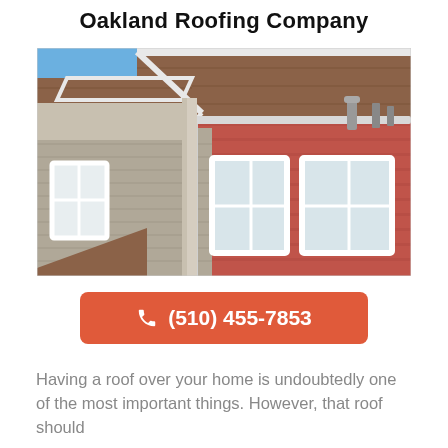Oakland Roofing Company
[Figure (photo): Exterior photo of a house with red and tan/gray siding, white-trimmed dormer windows, brown asphalt shingle roof, white gutters, and a blue sky background.]
(510) 455-7853
Having a roof over your home is undoubtedly one of the most important things. However, that roof should